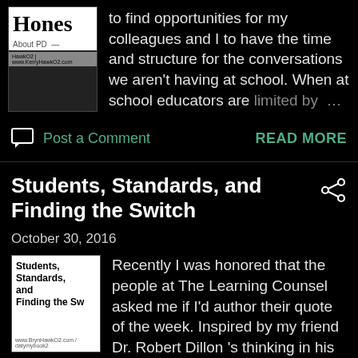[Figure (photo): Book cover thumbnail showing 'Hones...' title with 'About PD' subtitle and website URL]
to find opportunities for my colleagues and I to have the time and structure for the conversations we aren't having at school. When at school educators are limited by …
Post a Comment
READ MORE
Students, Standards, and Finding the Switch
October 30, 2016
[Figure (photo): Book cover for 'Students, Standards, and Finding the Switch']
Recently I was honored that the people at The Learning Counsel asked me if I'd author their quote of the week. Inspired by my friend Dr. Robert Dillon 's thinking in his recent post for them , I decided to focus t …